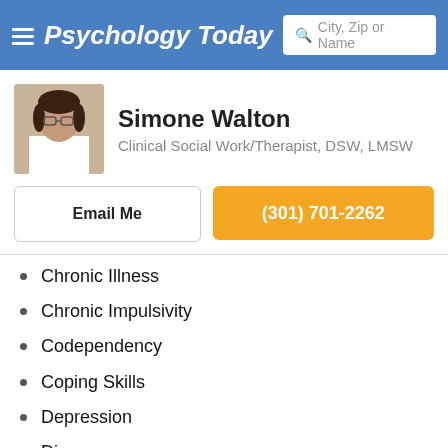Psychology Today — City, Zip or Name search bar
Simone Walton
Clinical Social Work/Therapist, DSW, LMSW
Email Me | (301) 701-2262
Chronic Illness
Chronic Impulsivity
Codependency
Coping Skills
Depression
Divorce
Domestic Abuse
Domestic Violence
Drug Abuse
Dual Diagnosis
Eating Disorders
Emotional Disturbance